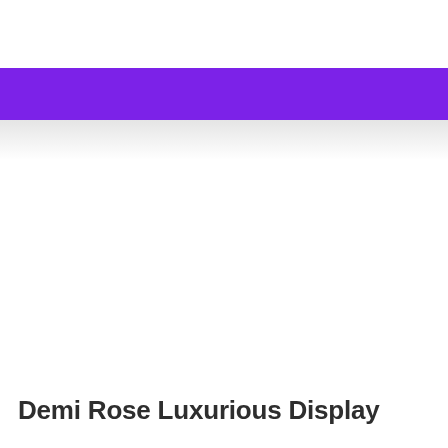[Figure (other): Purple horizontal banner/bar across the page with a soft drop shadow below it]
Demi Rose Luxurious Display